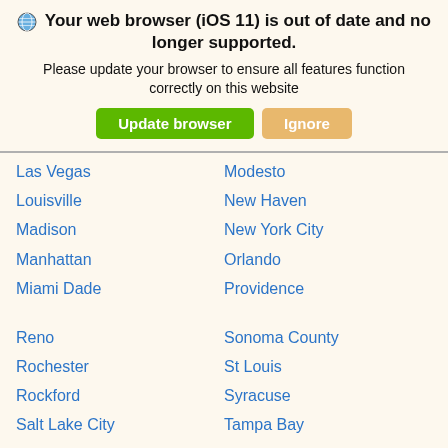Your web browser (iOS 11) is out of date and no longer supported. Please update your browser to ensure all features function correctly on this website
Las Vegas
Louisville
Madison
Manhattan
Miami Dade
Modesto
New Haven
New York City
Orlando
Providence
Reno
Rochester
Rockford
Salt Lake City
San Francisco
San Jose
Sarasota
Sonoma County
St Louis
Syracuse
Tampa Bay
Washington DC
Wichita